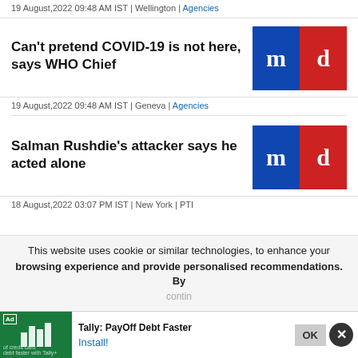19 August,2022 09:48 AM IST | Wellington | Agencies
Can't pretend COVID-19 is not here, says WHO Chief
[Figure (logo): m-d logo with blue left half showing 'm' and red right half showing 'd' in white serif font]
19 August,2022 09:48 AM IST | Geneva | Agencies
Salman Rushdie's attacker says he acted alone
[Figure (logo): m-d logo with blue left half showing 'm' and red right half showing 'd' in white serif font]
18 August,2022 03:07 PM IST | New York | PTI
This website uses cookie or similar technologies, to enhance your browsing experience and provide personalised recommendations. By continuing...
Ad | Tally: PayOff Debt Faster | Install!